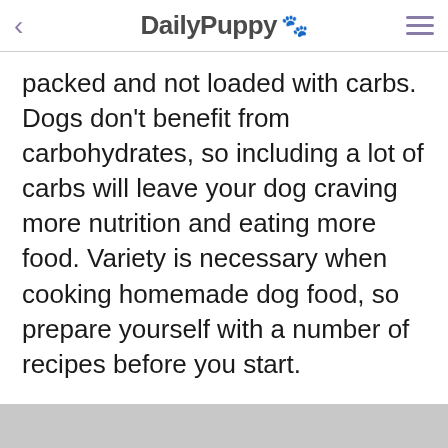DailyPuppy 🐾
packed and not loaded with carbs. Dogs don't benefit from carbohydrates, so including a lot of carbs will leave your dog craving more nutrition and eating more food. Variety is necessary when cooking homemade dog food, so prepare yourself with a number of recipes before you start.